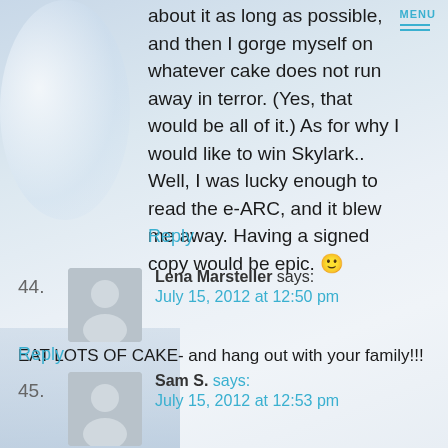about it as long as possible, and then I gorge myself on whatever cake does not run away in terror. (Yes, that would be all of it.) As for why I would like to win Skylark.. Well, I was lucky enough to read the e-ARC, and it blew me away. Having a signed copy would be epic. 🙂
Reply
44. Lena Marsteller says: July 15, 2012 at 12:50 pm EAT LOTS OF CAKE- and hang out with your family!!! Reply
45. Sam S. says: July 15, 2012 at 12:53 pm I can not wait to read Skylark! It has